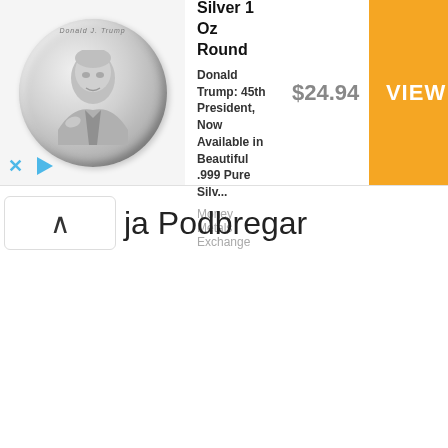[Figure (infographic): Advertisement banner for 'President Trump - .999 Pure Silver 1 Oz Round' showing a silver coin on the left, product title and description in the middle, price of $24.94, and an orange VIEW button on the right. Source: Money Metals Exchange.]
ja Podbregar